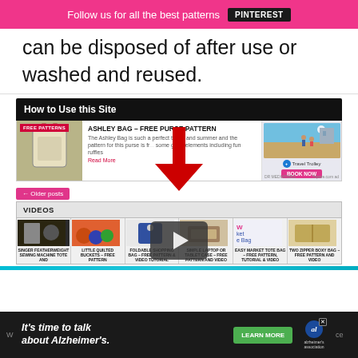Follow us for all the best patterns  PINTEREST
can be disposed of after use or washed and reused.
How to Use this Site
[Figure (screenshot): Screenshot of a sewing pattern website showing Ashley Bag free purse pattern article with image, description text and Read More link, alongside a travel advertisement with Book Now button.]
← Older posts
VIDEOS
[Figure (screenshot): Video thumbnails row showing: Singer Featherweight Sewing Machine Tote And, Little Quilted Buckets - Free Pattern, Foldable Shopping Bag - Free Pattern & Video Tutorial, Simple Laptop or Tablet Case - Free Pattern and Video, Easy Market Tote Bag - Free Pattern Tutorial & Video, Two Zipper Boxy Bag - Free Pattern and Video. A red arrow points down to a video play button overlay.]
[Figure (screenshot): Advertisement banner for Alzheimer's Association: 'It's time to talk about Alzheimer's.' with Learn More button and Alzheimer's Association logo.]